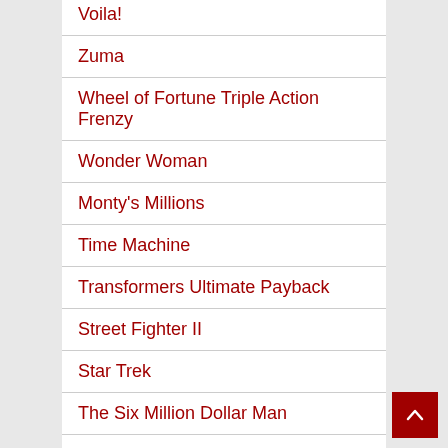Voila!
Zuma
Wheel of Fortune Triple Action Frenzy
Wonder Woman
Monty's Millions
Time Machine
Transformers Ultimate Payback
Street Fighter II
Star Trek
The Six Million Dollar Man
South Park